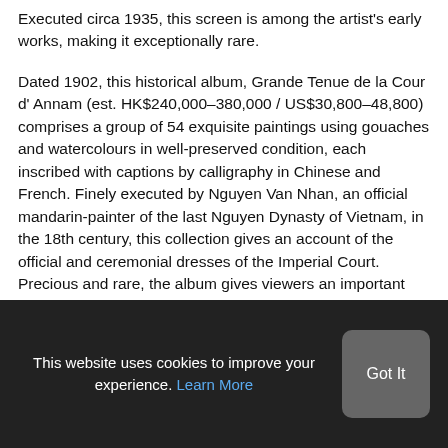Executed circa 1935, this screen is among the artist's early works, making it exceptionally rare.
Dated 1902, this historical album, Grande Tenue de la Cour d' Annam (est. HK$240,000–380,000 / US$30,800–48,800) comprises a group of 54 exquisite paintings using gouaches and watercolours in well-preserved condition, each inscribed with captions by calligraphy in Chinese and French. Finely executed by Nguyen Van Nhan, an official mandarin-painter of the last Nguyen Dynasty of Vietnam, in the 18th century, this collection gives an account of the official and ceremonial dresses of the Imperial Court. Precious and rare, the album gives viewers an important peek into the last
This website uses cookies to improve your experience. Learn More